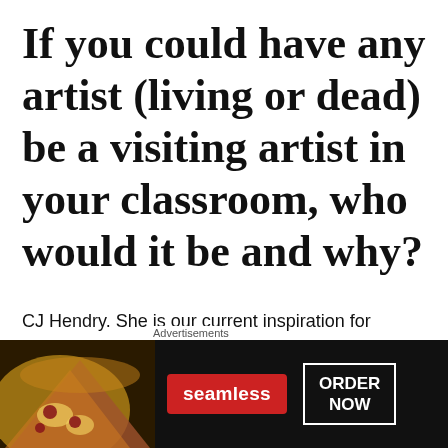If you could have any artist (living or dead) be a visiting artist in your classroom, who would it be and why?
CJ Hendry. She is our current inspiration for several projects and the kids are just fascinated by her process and commitment to her work. She
[Figure (other): Advertisement banner for Seamless food delivery with pizza image, Seamless logo in red, and ORDER NOW button]